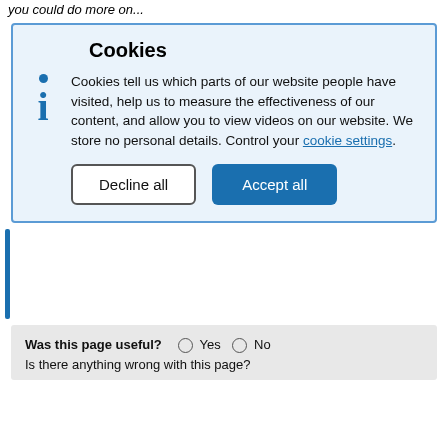you could do more on...
Cookies
Cookies tell us which parts of our website people have visited, help us to measure the effectiveness of our content, and allow you to view videos on our website. We store no personal details. Control your cookie settings.
[Figure (screenshot): Cookie consent dialog with Decline all and Accept all buttons on a light blue background]
Was this page useful? Yes No
Is there anything wrong with this page?